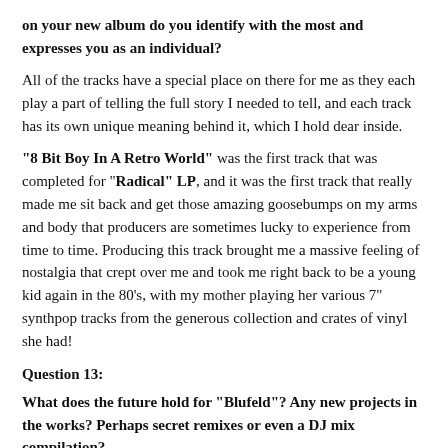on your new album do you identify with the most and expresses you as an individual?
All of the tracks have a special place on there for me as they each play a part of telling the full story I needed to tell, and each track has its own unique meaning behind it, which I hold dear inside.
"8 Bit Boy In A Retro World" was the first track that was completed for "Radical" LP, and it was the first track that really made me sit back and get those amazing goosebumps on my arms and body that producers are sometimes lucky to experience from time to time. Producing this track brought me a massive feeling of nostalgia that crept over me and took me right back to be a young kid again in the 80's, with my mother playing her various 7" synthpop tracks from the generous collection and crates of vinyl she had!
Question 13:
What does the future hold for "Blufeld"? Any new projects in the works? Perhaps secret remixes or even a DJ mix compilation?
Well it's been a tough year for me along with so many people in the world, so I have no major plans....
There is one collaboration ongoing at the moment that I'm very excited about, as it's a pairing that I think a lot of people will enjoy a lot, although I cannot share